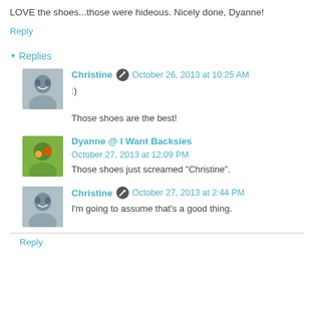LOVE the shoes...those were hideous. Nicely done, Dyanne!
Reply
▾ Replies
Christine ✎ October 26, 2013 at 10:25 AM
:)
Those shoes are the best!
Dyanne @ I Want Backsies October 27, 2013 at 12:09 PM
Those shoes just screamed "Christine".
Christine ✎ October 27, 2013 at 2:44 PM
I'm going to assume that's a good thing.
Reply